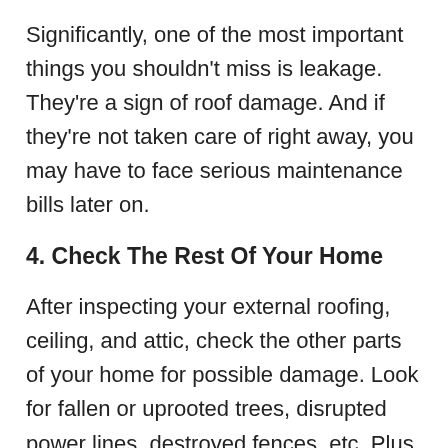Significantly, one of the most important things you shouldn't miss is leakage. They're a sign of roof damage. And if they're not taken care of right away, you may have to face serious maintenance bills later on.
4. Check The Rest Of Your Home
After inspecting your external roofing, ceiling, and attic, check the other parts of your home for possible damage. Look for fallen or uprooted trees, disrupted power lines, destroyed fences, etc. Plus, don't forget to check your windows for any signs of cracks, torn screens, or loose weatherstripping.
Once you have identified every damaged part of your home, explaining the problems to your contractor and asking for help from your insurance